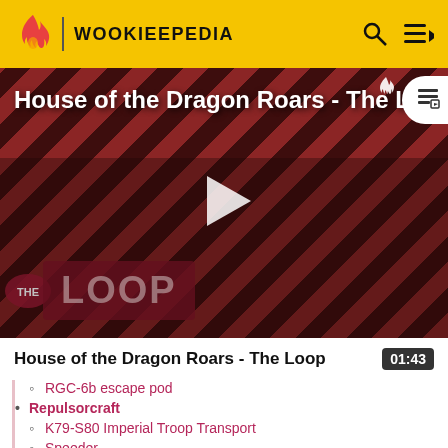WOOKIEEPEDIA
[Figure (screenshot): Video thumbnail for 'House of the Dragon Roars - The L...' showing two characters against a red diagonal striped background with 'THE LOOP' logo and a play button overlay.]
House of the Dragon Roars - The Loop
01:43
RGC-6b escape pod
Repulsorcraft
K79-S80 Imperial Troop Transport
Speeder
Speeder bike